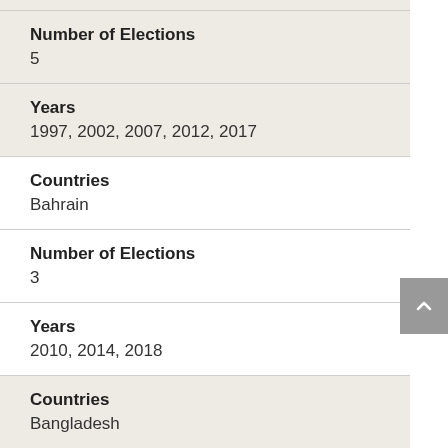| Field | Value |
| --- | --- |
| Number of Elections | 5 |
| Years | 1997, 2002, 2007, 2012, 2017 |
| Countries | Bahrain |
| Number of Elections | 3 |
| Years | 2010, 2014, 2018 |
| Countries | Bangladesh |
| Number of Elections | … |